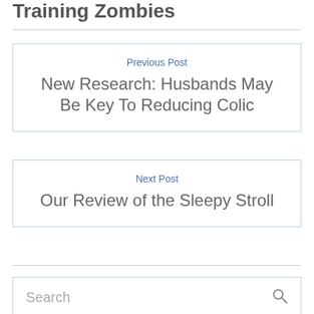Training Zombies
Previous Post
New Research: Husbands May Be Key To Reducing Colic
Next Post
Our Review of the Sleepy Stroll
Search